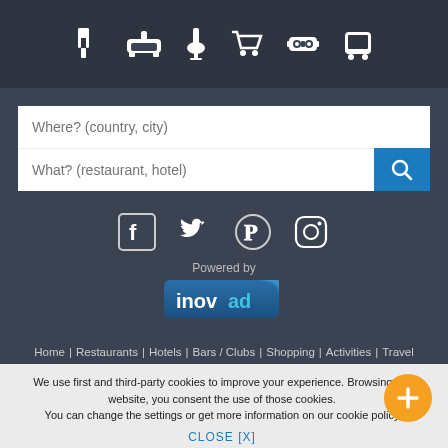[Figure (infographic): Top navigation bar with white icons on dark background: fork/knife (restaurant), bed (hotel), drink (bar), shopping cart, game controller, bus/transit]
[Figure (screenshot): Search interface with two input fields: 'Where? (country, city)' and 'What? (restaurant, hotel)' with a blue search button]
[Figure (infographic): Social media icons: Facebook, Twitter, Pinterest, Instagram in dark row]
[Figure (logo): Powered by inovad logo with blue and teal styling]
Home | Restaurants | Hotels | Bars / Clubs | Shopping | Activities | Travel
We use first and third-party cookies to improve your experience. Browsing the website, you consent the use of those cookies. You can change the settings or get more information on our cookie policy
CLOSE [X]